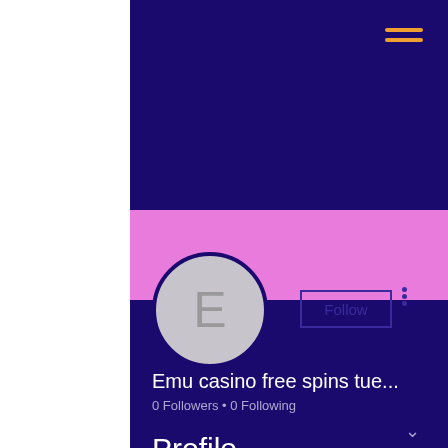[Figure (screenshot): Mobile app profile page screenshot with dark navy background, pink banner, circular avatar with letter E, Follow button, username 'Emu casino free spins tue...', 0 Followers and 0 Following stats, and Profile section header]
Emu casino free spins tue...
0 Followers • 0 Following
Profile